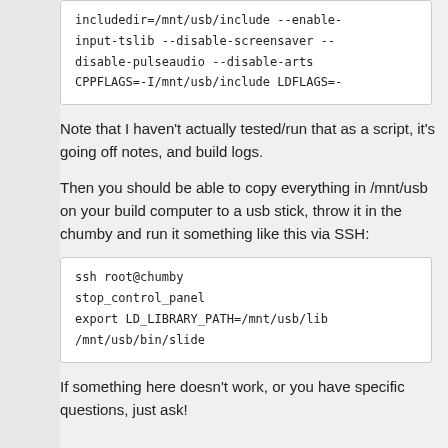includedir=/mnt/usb/include --enable-input-tslib --disable-screensaver --disable-pulseaudio --disable-arts CPPFLAGS=-I/mnt/usb/include LDFLAGS=-
Note that I haven't actually tested/run that as a script, it's going off notes, and build logs.
Then you should be able to copy everything in /mnt/usb on your build computer to a usb stick, throw it in the chumby and run it something like this via SSH:
ssh root@chumby
stop_control_panel
export LD_LIBRARY_PATH=/mnt/usb/lib
/mnt/usb/bin/slide
If something here doesn't work, or you have specific questions, just ask!